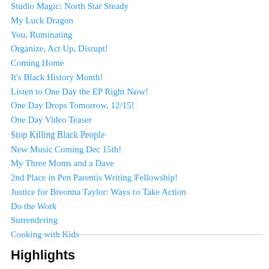Studio Magic: North Star Steady
My Luck Dragon
You, Ruminating
Organize, Act Up, Disrupt!
Coming Home
It's Black History Month!
Listen to One Day the EP Right Now!
One Day Drops Tomorrow, 12/15!
One Day Video Teaser
Stop Killing Black People
New Music Coming Dec 15th!
My Three Moms and a Dave
2nd Place in Pen Parentis Writing Fellowship!
Justice for Breonna Taylor: Ways to Take Action
Do the Work
Surrendering
Cooking with Kids
Highlights